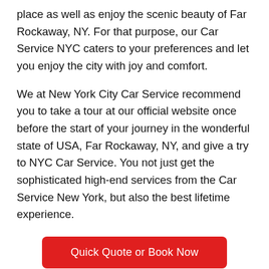place as well as enjoy the scenic beauty of Far Rockaway, NY. For that purpose, our Car Service NYC caters to your preferences and let you enjoy the city with joy and comfort.
We at New York City Car Service recommend you to take a tour at our official website once before the start of your journey in the wonderful state of USA, Far Rockaway, NY, and give a try to NYC Car Service. You not just get the sophisticated high-end services from the Car Service New York, but also the best lifetime experience.
Quick Quote or Book Now